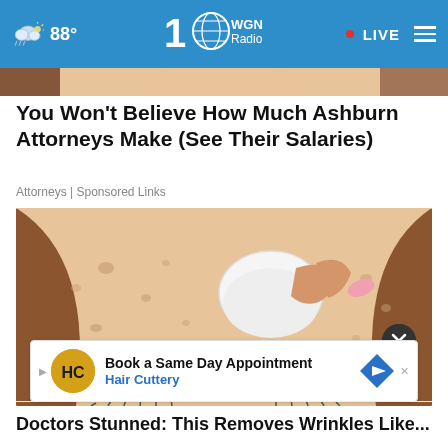WGN Radio 100 | 88° | LIVE
[Figure (screenshot): Partial top of a photo showing a person's hair and face background, brownish tones]
You Won't Believe How Much Ashburn Attorneys Make (See Their Salaries)
Attorneys | Sponsored Links
[Figure (illustration): Cartoon/illustration of a person's face from above, with brown hair, skin with spots, eyebrows, and a white cloth being pressed to forehead; pink flower petals visible]
[Figure (screenshot): Advertisement banner: Book a Same Day Appointment - Hair Cuttery, with HC logo and blue diamond arrow icon]
Doctors Stunned: This Removes Wrinkles Like...